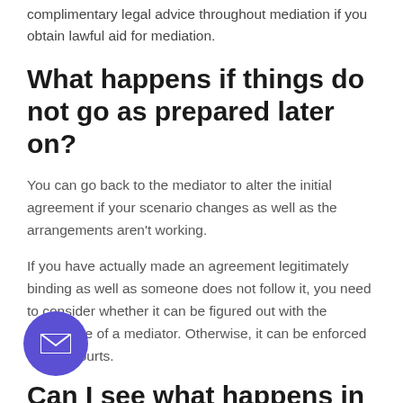complimentary legal advice throughout mediation if you obtain lawful aid for mediation.
What happens if things do not go as prepared later on?
You can go back to the mediator to alter the initial agreement if your scenario changes as well as the arrangements aren't working.
If you have actually made an agreement legitimately binding as well as someone does not follow it, you need to consider whether it can be figured out with the assistance of a mediator. Otherwise, it can be enforced via the courts.
Can I see what happens in
[Figure (illustration): Purple circular email button with envelope icon]